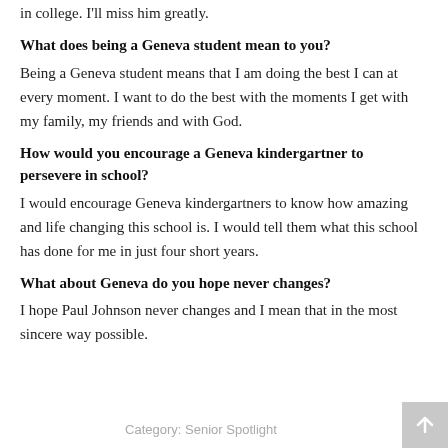in college. I'll miss him greatly.
What does being a Geneva student mean to you?
Being a Geneva student means that I am doing the best I can at every moment. I want to do the best with the moments I get with my family, my friends and with God.
How would you encourage a Geneva kindergartner to persevere in school?
I would encourage Geneva kindergartners to know how amazing and life changing this school is. I would tell them what this school has done for me in just four short years.
What about Geneva do you hope never changes?
I hope Paul Johnson never changes and I mean that in the most sincere way possible.
Category: Senior Spotlight